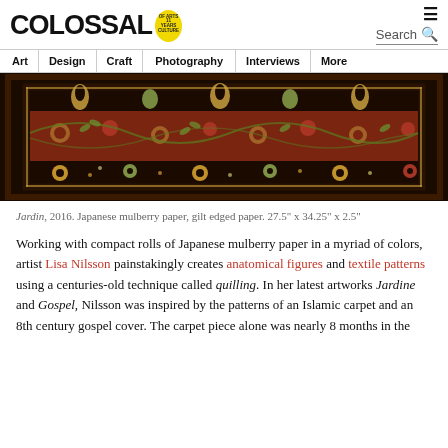[Figure (logo): Colossal website logo with stylized block letters and a yellow circular '11 Years of Arts & Culture' badge]
Search navigation with hamburger menu icon
Art | Design | Craft | Photography | Interviews | More
[Figure (photo): Close-up photograph of an ornate Islamic-style carpet or rug with dark background and floral/botanical patterns in reds, golds, greens, and creams — quilled paper artwork titled Jardin by Lisa Nilsson]
Jardin, 2016. Japanese mulberry paper, gilt edged paper. 27.5" x 34.25" x 2.5"
Working with compact rolls of Japanese mulberry paper in a myriad of colors, artist Lisa Nilsson painstakingly creates anatomical figures and textile patterns using a centuries-old technique called quilling. In her latest artworks Jardine and Gospel, Nilsson was inspired by the patterns of an Islamic carpet and an 8th century gospel cover. The carpet piece alone was nearly 8 months in the